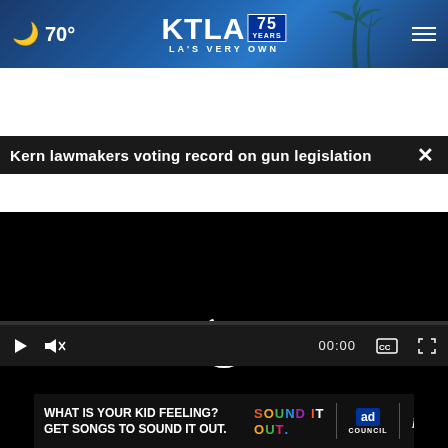🌙 70° KTLA 75 YEARS LA'S VERY OWN
Kern lawmakers voting record on gun legislation ×
[Figure (screenshot): Video player showing black screen with loading spinner (white partial circle), video controls bar at bottom with play, mute, time 00:00, CC and fullscreen buttons]
[Figure (screenshot): Thumbnail image below video player showing blurred outdoor scene with large text 'VENDORS' partially visible, with a dark close button overlay]
[Figure (screenshot): Advertisement banner: 'WHAT IS YOUR KID FEELING? GET SONGS TO SOUND IT OUT.' with SOUND IT OUT colorful logo, Ad Council logo, and Pivotal branding]